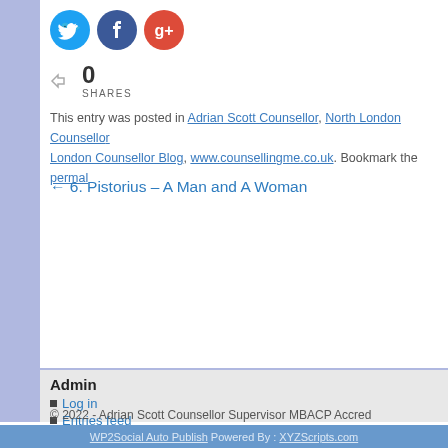[Figure (other): Social media share icons: Twitter (blue circle), Facebook (dark blue circle), Google+ (red circle)]
0 SHARES
This entry was posted in Adrian Scott Counsellor, North London Counsellor, London Counsellor Blog, www.counsellingme.co.uk. Bookmark the permal…
← 6. Pistorius – A Man and A Woman
Admin
Log in
Entries feed
Comments feed
WordPress.org
© 2022 - Adrian Scott Counsellor Supervisor MBACP Accred
WP2Social Auto Publish Powered By : XYZScripts.com